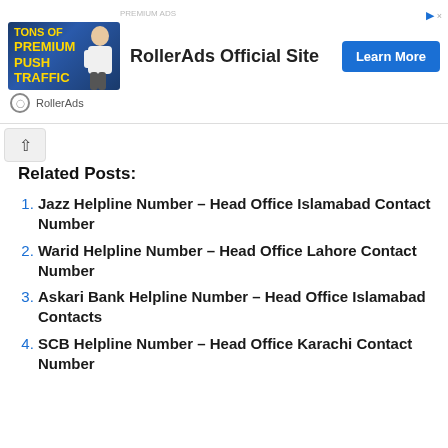[Figure (other): RollerAds advertisement banner with image of woman, text 'RollerAds Official Site', and 'Learn More' button]
Related Posts:
Jazz Helpline Number – Head Office Islamabad Contact Number
Warid Helpline Number – Head Office Lahore Contact Number
Askari Bank Helpline Number – Head Office Islamabad Contacts
SCB Helpline Number – Head Office Karachi Contact Number